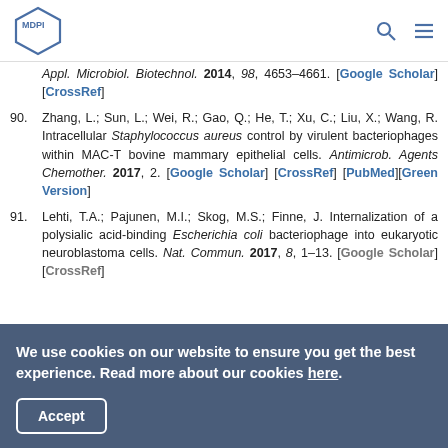MDPI
Appl. Microbiol. Biotechnol. 2014, 98, 4653–4661. [Google Scholar] [CrossRef]
90. Zhang, L.; Sun, L.; Wei, R.; Gao, Q.; He, T.; Xu, C.; Liu, X.; Wang, R. Intracellular Staphylococcus aureus control by virulent bacteriophages within MAC-T bovine mammary epithelial cells. Antimicrob. Agents Chemother. 2017, 2. [Google Scholar] [CrossRef] [PubMed][Green Version]
91. Lehti, T.A.; Pajunen, M.I.; Skog, M.S.; Finne, J. Internalization of a polysialic acid-binding Escherichia coli bacteriophage into eukaryotic neuroblastoma cells. Nat. Commun. 2017, 8, 1–13. [Google Scholar] [CrossRef]
We use cookies on our website to ensure you get the best experience. Read more about our cookies here.
Accept